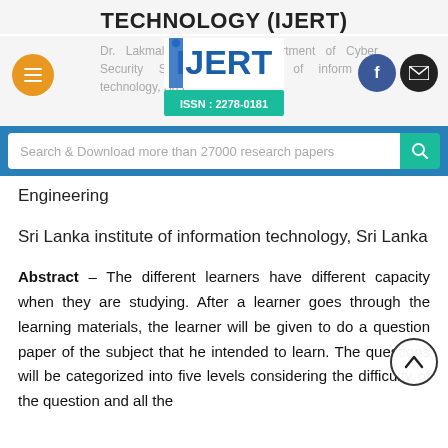TECHNOLOGY (IJERT)
Dr. Lakmal Rupasinghe, Department of Cyber Security Sri Lanka institute of information technology, Sri Lanka
[Figure (logo): IJERT logo with ISSN: 2278-0181]
Search & Download more than 27000 research papers
Engineering
Sri Lanka institute of information technology, Sri Lanka
Abstract – The different learners have different capacity when they are studying. After a learner goes through the learning materials, the learner will be given to do a question paper of the subject that he intended to learn. The questions will be categorized into five levels considering the difficulty of the question and all the